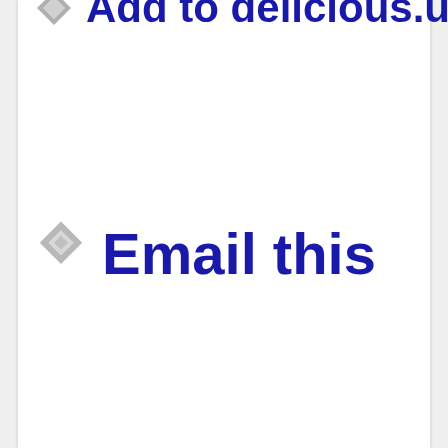Add to delicious.us
Email this